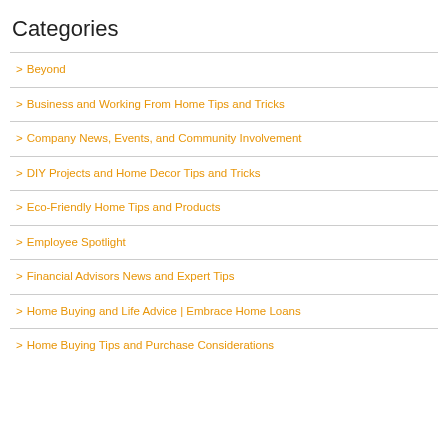Categories
> Beyond
> Business and Working From Home Tips and Tricks
> Company News, Events, and Community Involvement
> DIY Projects and Home Decor Tips and Tricks
> Eco-Friendly Home Tips and Products
> Employee Spotlight
> Financial Advisors News and Expert Tips
> Home Buying and Life Advice | Embrace Home Loans
> Home Buying Tips and Purchase Considerations